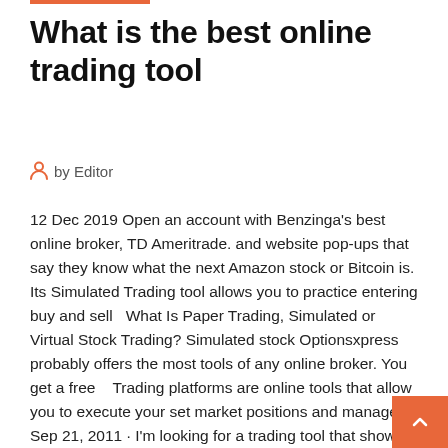What is the best online trading tool
by Editor
12 Dec 2019 Open an account with Benzinga's best online broker, TD Ameritrade. and website pop-ups that say they know what the next Amazon stock or Bitcoin is. Its Simulated Trading tool allows you to practice entering buy and sell  What Is Paper Trading, Simulated or Virtual Stock Trading? Simulated stock Optionsxpress probably offers the most tools of any online broker. You get a free   Trading platforms are online tools that allow you to execute your set market positions and manage
Sep 21, 2011 · I'm looking for a trading tool that shows me the followning: - A graph of your total net worth i.e. cash, sell orders and isk in escrow combined - orders that ran out and may replacing - details on what items sell best and so on That's